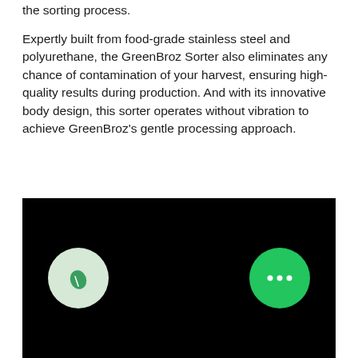the sorting process.
Expertly built from food-grade stainless steel and polyurethane, the GreenBroz Sorter also eliminates any chance of contamination of your harvest, ensuring high-quality results during production. And with its innovative body design, this sorter operates without vibration to achieve GreenBroz's gentle processing approach.
[Figure (screenshot): Black background image area with two circular icons: a light green circle with a leaf icon on the left, and a solid green circle with three dots (chat/more options) on the right.]